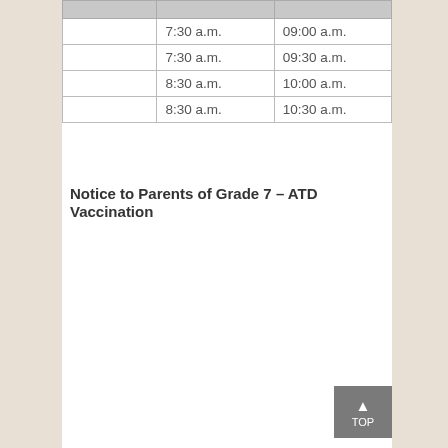|  |  |  |
| --- | --- | --- |
|  | 7:30 a.m. | 09:00 a.m. |
|  | 7:30 a.m. | 09:30 a.m. |
|  | 8:30 a.m. | 10:00 a.m. |
|  | 8:30 a.m. | 10:30 a.m. |
Notice to Parents of Grade 7 – ATD Vaccination